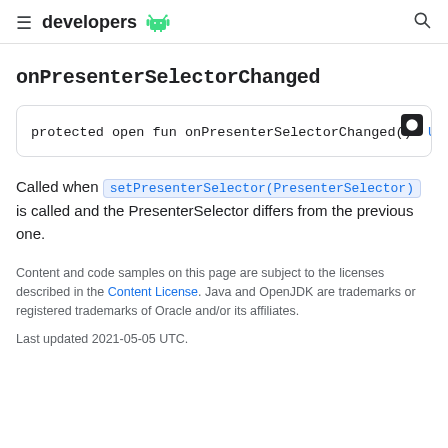developers
onPresenterSelectorChanged
protected open fun onPresenterSelectorChanged(): Uni
Called when setPresenterSelector(PresenterSelector) is called and the PresenterSelector differs from the previous one.
Content and code samples on this page are subject to the licenses described in the Content License. Java and OpenJDK are trademarks or registered trademarks of Oracle and/or its affiliates.
Last updated 2021-05-05 UTC.